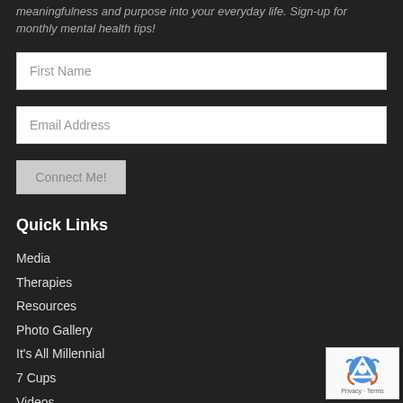meaningfulness and purpose into your everyday life. Sign-up for monthly mental health tips!
First Name
Email Address
Connect Me!
Quick Links
Media
Therapies
Resources
Photo Gallery
It's All Millennial
7 Cups
Videos
Blog